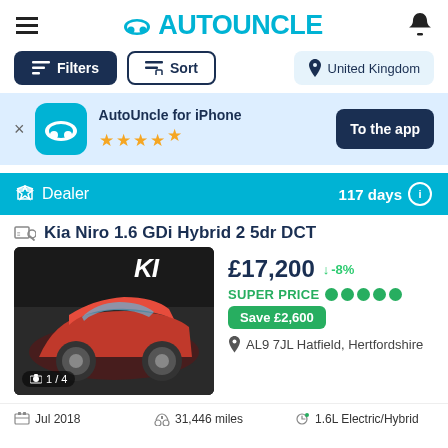AUTOUNCLE
Filters | Sort | United Kingdom
AutoUncle for iPhone ★★★★½ — To the app
Dealer — 117 days
Kia Niro 1.6 GDi Hybrid 2 5dr DCT
[Figure (photo): Photo of a red Kia Niro SUV with KIA badge visible, image 1 of 4]
£17,200 ↓ -8% SUPER PRICE ●●●●● Save £2,600 AL9 7JL Hatfield, Hertfordshire
Jul 2018 | 31,446 miles | 1.6L Electric/Hybrid